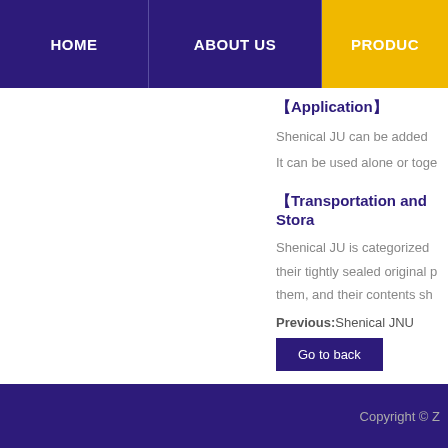HOME   ABOUT US   PRODUC
【Application】
Shenical JU can be added
It can be used alone or toge
【Transportation and Stora
Shenical JU is categorized
their tightly sealed original p
them, and their contents sh
Previous:Shenical JNU
Copyright © Z